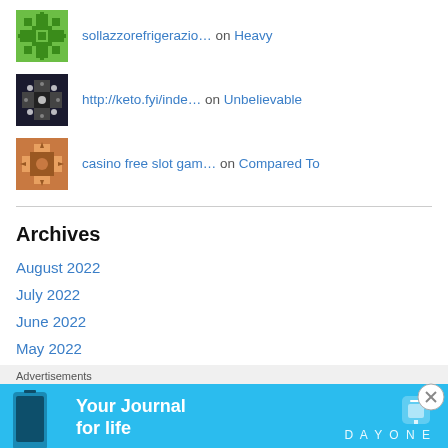sollazzorefrigerazio… on Heavy
http://keto.fyi/inde… on Unbelievable
casino free slot gam… on Compared To
Archives
August 2022
July 2022
June 2022
May 2022
April 2022
Advertisements
[Figure (infographic): Day One app advertisement banner — 'Your Journal for life' with app icon and phone image]